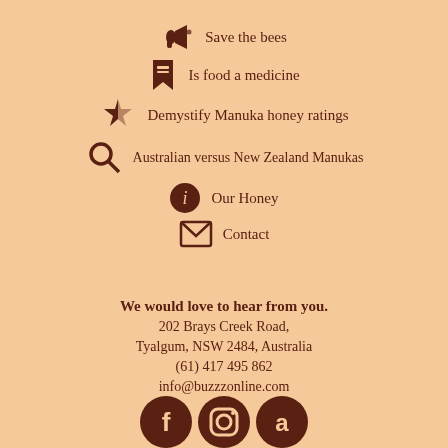Save the bees
Is food a medicine
Demystify Manuka honey ratings
Australian versus New Zealand Manukas
Our Honey
Contact
We would love to hear from you.
202 Brays Creek Road,
Tyalgum, NSW 2484, Australia
(61) 417 495 862
info@buzzzonline.com
[Figure (logo): Social media icons: Facebook, Instagram, Amazon]